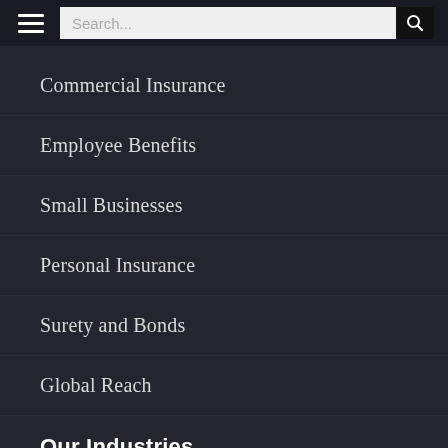Search...
Commercial Insurance
Employee Benefits
Small Businesses
Personal Insurance
Surety and Bonds
Global Reach
Our Industries